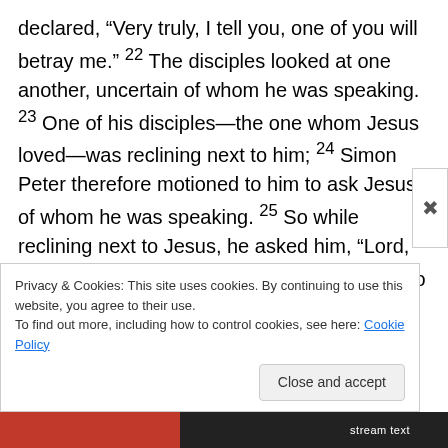declared, “Very truly, I tell you, one of you will betray me.” 22 The disciples looked at one another, uncertain of whom he was speaking. 23 One of his disciples—the one whom Jesus loved—was reclining next to him; 24 Simon Peter therefore motioned to him to ask Jesus of whom he was speaking. 25 So while reclining next to Jesus, he asked him, “Lord, who is it?” 26 Jesus answered, “It is the one to whom I give this piece of bread when I have dipped it in the dish.” So when he had dipped the piece of bread, he gave it to Judas son of Simon Iscariot. 27 After he received the piece of bread, Satan entered into him. Jesus said to
Privacy & Cookies: This site uses cookies. By continuing to use this website, you agree to their use.
To find out more, including how to control cookies, see here: Cookie Policy
Close and accept